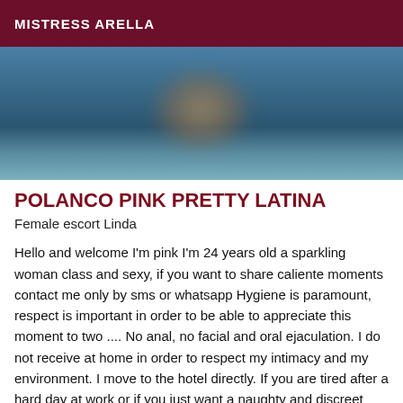MISTRESS ARELLA
[Figure (photo): Blurred photo with blue-teal background and indistinct figure]
POLANCO PINK PRETTY LATINA
Female escort Linda
Hello and welcome I'm pink I'm 24 years old a sparkling woman class and sexy, if you want to share caliente moments contact me only by sms or whatsapp Hygiene is paramount, respect is important in order to be able to appreciate this moment to two .... No anal, no facial and oral ejaculation. I do not receive at home in order to respect my intimacy and my environment. I move to the hotel directly. If you are tired after a hard day at work or if you just want a naughty and discreet moment, I will wait for you.